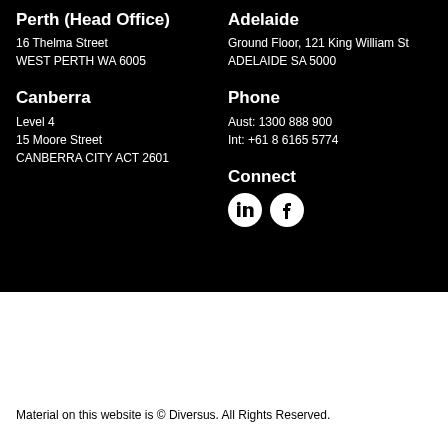Perth (Head Office)
16 Thelma Street
WEST PERTH WA 6005
Canberra
Level 4
15 Moore Street
CANBERRA CITY ACT 2601
Adelaide
Ground Floor, 121 King William St
ADELAIDE SA 5000
Phone
Aust: 1300 888 900
Int: +61 8 6165 5774
Connect
[Figure (illustration): LinkedIn and Facebook social media icon circles]
Material on this website is © Diversus. All Rights Reserved.